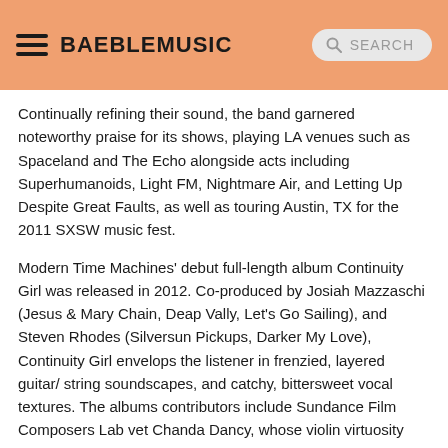BAEBLEMUSIC
Continually refining their sound, the band garnered noteworthy praise for its shows, playing LA venues such as Spaceland and The Echo alongside acts including Superhumanoids, Light FM, Nightmare Air, and Letting Up Despite Great Faults, as well as touring Austin, TX for the 2011 SXSW music fest.
Modern Time Machines' debut full-length album Continuity Girl was released in 2012. Co-produced by Josiah Mazzaschi (Jesus & Mary Chain, Deap Vally, Let's Go Sailing), and Steven Rhodes (Silversun Pickups, Darker My Love), Continuity Girl envelops the listener in frenzied, layered guitar/ string soundscapes, and catchy, bittersweet vocal textures. The albums contributors include Sundance Film Composers Lab vet Chanda Dancy, whose violin virtuosity weaves throughout; listeners may also recognize vocalist Breanne Martin from her work with HUMs Matt Talbot in Open Hand.
Source: Artist Facebook Page